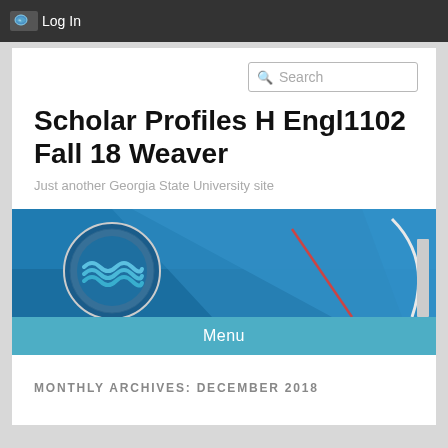Log In
[Figure (screenshot): Search input box with magnifying glass icon and placeholder text 'Search']
Scholar Profiles H Engl1102 Fall 18 Weaver
Just another Georgia State University site
[Figure (photo): Georgia State University banner image showing the GSU circular logo/seal with wave design on left and an architectural arc/column against a blue sky on the right]
Menu
MONTHLY ARCHIVES: DECEMBER 2018